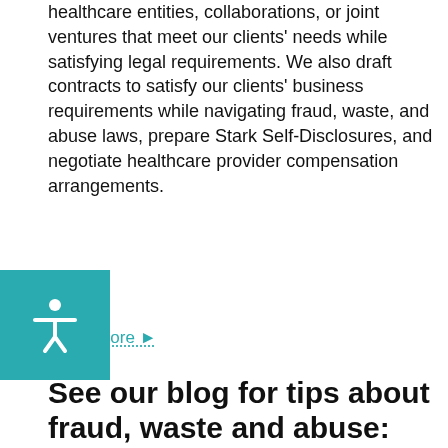healthcare entities, collaborations, or joint ventures that meet our clients' needs while satisfying legal requirements. We also draft contracts to satisfy our clients' business requirements while navigating fraud, waste, and abuse laws, prepare Stark Self-Disclosures, and negotiate healthcare provider compensation arrangements.
Learn more ▶
See our blog for tips about fraud, waste and abuse:
[Figure (photo): A man in glasses and a dark suit speaking at a podium with an American flag visible in the background. The image is dark/low-key.]